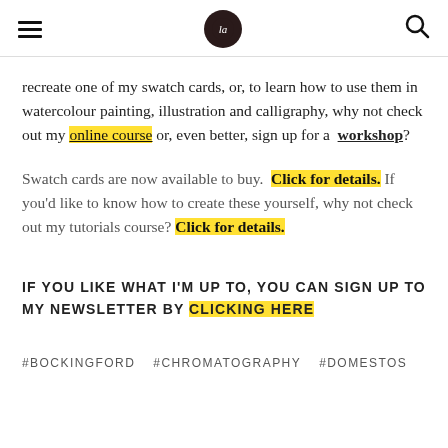[hamburger menu] [logo] [search icon]
recreate one of my swatch cards, or, to learn how to use them in watercolour painting, illustration and calligraphy, why not check out my online course or, even better, sign up for a workshop?
Swatch cards are now available to buy. Click for details. If you'd like to know how to create these yourself, why not check out my tutorials course? Click for details.
IF YOU LIKE WHAT I'M UP TO, YOU CAN SIGN UP TO MY NEWSLETTER BY CLICKING HERE
#BOCKINGFORD  #CHROMATOGRAPHY  #DOMESTOS